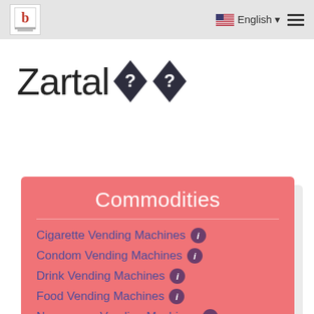Zartal [logo] | English | menu
Zartal ◆◆
Commodities
Cigarette Vending Machines
Condom Vending Machines
Drink Vending Machines
Food Vending Machines
Newspaper Vending Machines